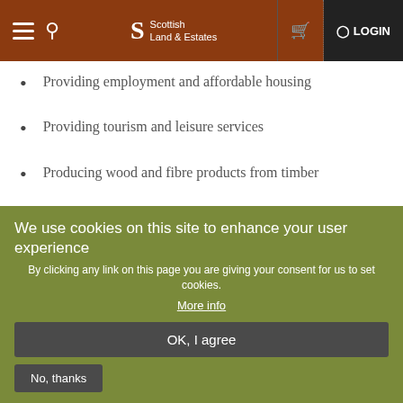Scottish Land & Estates — navigation header with logo, search, cart, and login
Providing employment and affordable housing
Providing tourism and leisure services
Producing wood and fibre products from timber
Caring for landscapes, habitats and wildlife
Maintaining and investing in built heritage
Providing premises and infrastructure for small rural businesses
We use cookies on this site to enhance your user experience
By clicking any link on this page you are giving your consent for us to set cookies.
More info
OK, I agree
No, thanks